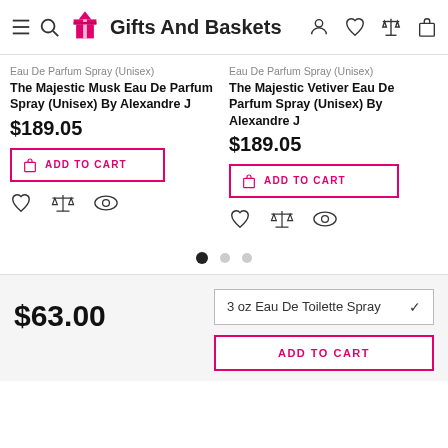Gifts And Baskets
Eau De Parfum Spray (Unisex)
The Majestic Musk Eau De Parfum Spray (Unisex) By Alexandre J
$189.05
Eau De Parfum Spray (Unisex)
The Majestic Vetiver Eau De Parfum Spray (Unisex) By Alexandre J
$189.05
$63.00
3 oz Eau De Toilette Spray